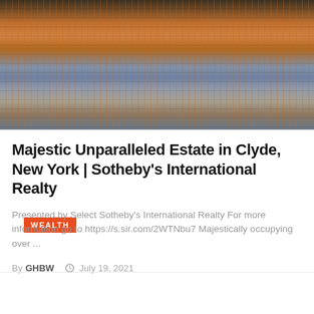[Figure (photo): Aerial or lakeside photo of an estate property with autumn foliage reflecting on water, warm orange and red tones]
WEALTH
Majestic Unparalleled Estate in Clyde, New York | Sotheby's International Realty
Presented by Select Sotheby's International Realty For more information go to https://s.sir.com/2WTNbu7 Majestically occupying over ...
By GHBW  July 19, 2021